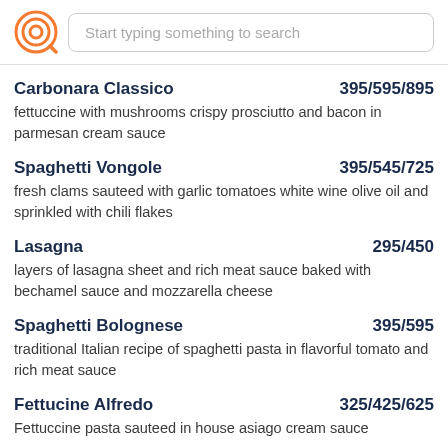Start typing something to search
Carbonara Classico 395/595/895 — fettuccine with mushrooms crispy prosciutto and bacon in parmesan cream sauce
Spaghetti Vongole 395/545/725 — fresh clams sauteed with garlic tomatoes white wine olive oil and sprinkled with chili flakes
Lasagna 295/450 — layers of lasagna sheet and rich meat sauce baked with bechamel sauce and mozzarella cheese
Spaghetti Bolognese 395/595 — traditional Italian recipe of spaghetti pasta in flavorful tomato and rich meat sauce
Fettucine Alfredo 325/425/625 — Fettuccine pasta sauteed in house asiago cream sauce